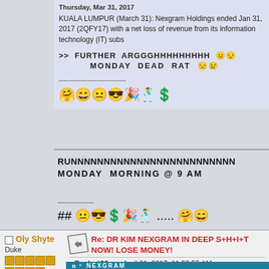KUALA LUMPUR (March 31): Nexgram Holdings ended Jan 31, 2017 (2QFY17) with a net loss of revenue from its information technology (IT) subs
>> FURTHER ARGGGHHHHHHHHH 😐😒
MONDAY DEAD RAT 😒😢
----------------------------
🤗😄😐😎🎉🕺💲
RUNNNNNNNNNNNNNNNNNNNNNNNNN
MONDAY MORNING @ 9 AM
---------------
## 😐😎💲🎉🕺..... 🤗😄
Oly Shyte
Duke
Re: DR KIM NEXGRAM IN DEEP S+H+I+T NOW! LOSE MONEY!
« Reply #66 on: April 01, 2017, 11:53:55 AM »